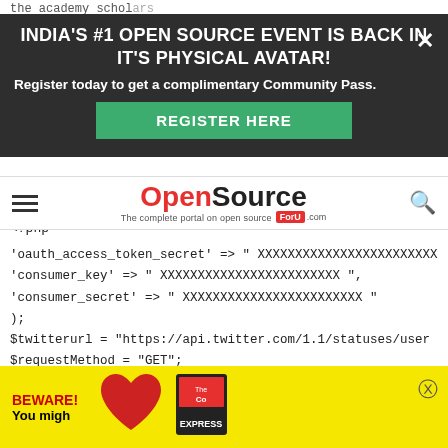the academy scholars...
[Figure (screenshot): Dark overlay banner with text: INDIA'S #1 OPEN SOURCE EVENT IS BACK IN IT'S PHYSICAL AVATAR! Register today to get a complimentary Community Pass. REGISTER HERE button. Close X button.]
[Figure (logo): OpenSource ForU .com logo with tagline 'The complete portal on open source']
'oauth_access_token_secret' => " XXXXXXXXXXXXXXXXXXXXXXXX
'consumer_key' => " XXXXXXXXXXXXXXXXXXXXXXXX ",
'consumer_secret' => " XXXXXXXXXXXXXXXXXXXXXXXX "
);
$twitterurl = "https://api.twitter.com/1.1/statuses/user
$requestMethod = "GET";
if (isset($_GET['user'])) {$user = $_GET['user'];} else
if (isset($_GET['count'])) {$count = $_GET['count'];} el
$field = "?screen_name=$user&count=$count";
$mytwitte
$str = i
[Figure (screenshot): Bottom advertisement: yellow background with BEWARE! You migh text, red heart image, Express magazine graphic, and close X button.]